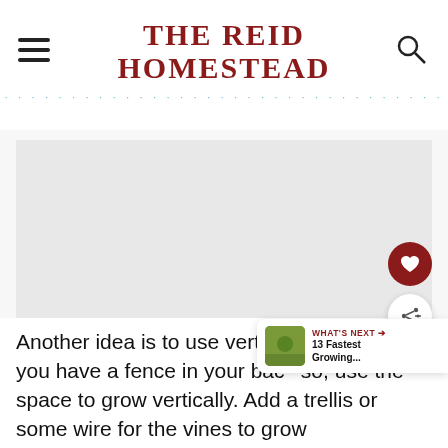THE REID HOMESTEAD
[Figure (other): Advertisement or image placeholder area, light gray rectangle]
Another idea is to use vertical gardening. Do you have a fence in your back so, use the space to grow vertically. Add a trellis or some wire for the vines to grow